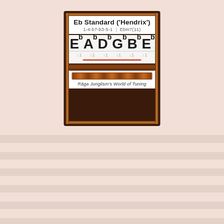[Figure (infographic): Guitar tuning card showing Eb Standard ('Hendrix') tuning with notes Eb Ab Db Gb Bb Eb, intervals 1-4-b7-b3-5-1, chord Ebm7(11), with decorative wood frame border and 'Raga Junglism's World of Tuning' branding]